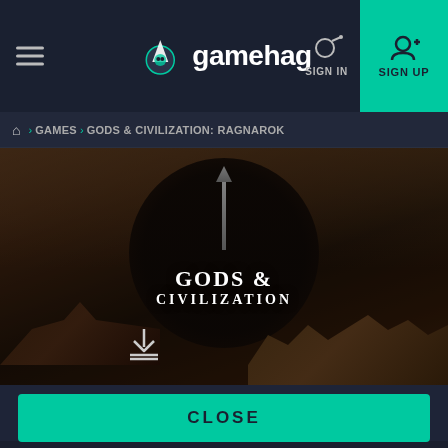gamehag — SIGN IN  SIGN UP
GAMES > GODS & CIVILIZATION: RAGNAROK
[Figure (screenshot): Gods & Civilization: Ragnarok game banner with dark fantasy background showing a ship and gothic architecture, overlaid with circular dark logo containing text GODS & CIVILIZATION and a download icon]
GDPR - Information   By using this website you consent to the use of cookies.
CLOSE